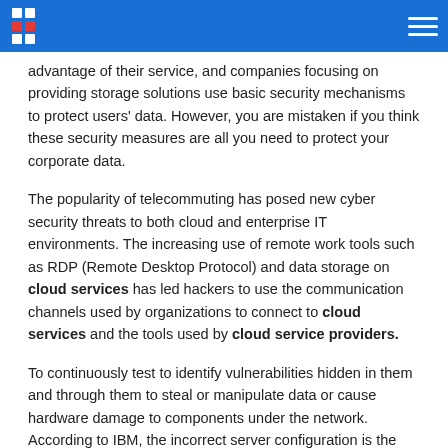[Logo] [Navigation menu]
advantage of their service, and companies focusing on providing storage solutions use basic security mechanisms to protect users' data. However, you are mistaken if you think these security measures are all you need to protect your corporate data.
The popularity of telecommuting has posed new cyber security threats to both cloud and enterprise IT environments. The increasing use of remote work tools such as RDP (Remote Desktop Protocol) and data storage on cloud services has led hackers to use the communication channels used by organizations to connect to cloud services and the tools used by cloud service providers.
To continuously test to identify vulnerabilities hidden in them and through them to steal or manipulate data or cause hardware damage to components under the network. According to IBM, the incorrect server configuration is the cause of the hacking of cloud